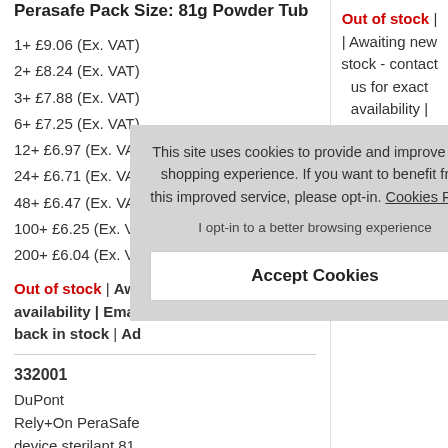Perasafe Pack Size: 81g Powder Tub
1+ £9.06 (Ex. VAT)
2+ £8.24 (Ex. VAT)
3+ £7.88 (Ex. VAT)
6+ £7.25 (Ex. VAT)
12+ £6.97 (Ex. VAT)
24+ £6.71 (Ex. VAT)
48+ £6.47 (Ex. VAT)
100+ £6.25 (Ex. VAT)
200+ £6.04 (Ex. VA...
Out of stock | Awa... stock - contact us... availability | Email... back in stock | Ad...
Out of stock | | Awaiting new stock - contact us for exact availability | Email me when back in stock
332001
DuPont
Rely+On PeraSafe... device sterilant 81... bottle (pack of 1 t...
Perasafe Pack Siz...
Powder Bottle...
This site uses cookies to provide and improve your shopping experience. If you want to benefit from this improved service, please opt-in. Cookies Page. I opt-in to a better browsing experience
Accept Cookies